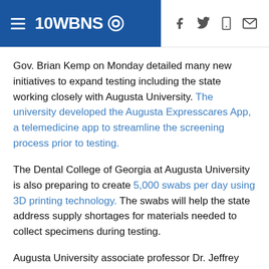10 WBNS CBS
Gov. Brian Kemp on Monday detailed many new initiatives to expand testing including the state working closely with Augusta University. The university developed the Augusta Expresscares App, a telemedicine app to streamline the screening process prior to testing.
The Dental College of Georgia at Augusta University is also preparing to create 5,000 swabs per day using 3D printing technology. The swabs will help the state address supply shortages for materials needed to collect specimens during testing.
Augusta University associate professor Dr. Jeffrey James said the university should begin making the swabs for distribution by the end of the week.
James said the 3D printing plans for swabs came from the University of South Florida and then were adapted by AU faculty and residents to meet the needs of COVID-19...